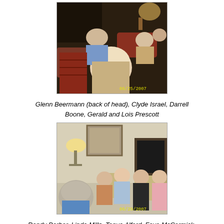[Figure (photo): Group of people seated in a room, photographed from behind/side angle. Date stamp 06/25/2007 visible.]
Glenn Beermann (back of head), Clyde Israel, Darrell Boone, Gerald and Lois Prescott
[Figure (photo): Group of women seated in a hotel/conference room, with lamp and mirror visible in background. Date stamp 06/29/2007 visible.]
Randy Barber, Linda Mills, Tonya Alford, Faye McCormick-Hunter, Donna Kay Rogers-Strayer, Bonnie Prevatt-Bennett, Sandy Beebe-Hill, Ann Weeks-Martin